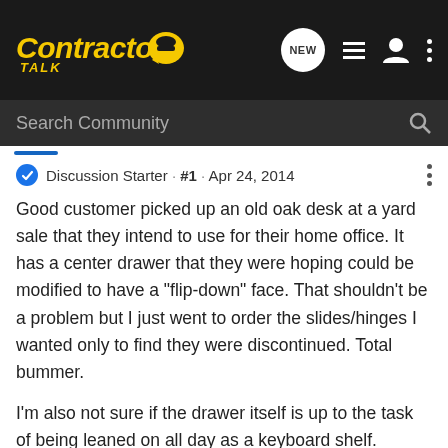[Figure (logo): Contractor Talk logo with yellow italic text and hard hat icon in speech bubble]
Search Community
Discussion Starter · #1 · Apr 24, 2014
Good customer picked up an old oak desk at a yard sale that they intend to use for their home office. It has a center drawer that they were hoping could be modified to have a "flip-down" face. That shouldn't be a problem but I just went to order the slides/hinges I wanted only to find they were discontinued. Total bummer.
I'm also not sure if the drawer itself is up to the task of being leaned on all day as a keyboard shelf.
Has anybody here successfully done the modernization of an old drawer into a new keyboard shelf?